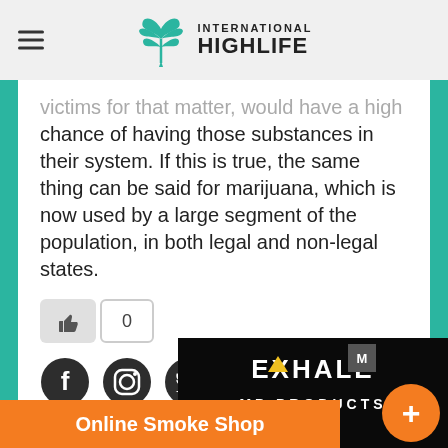International Highlife
victims for that matter, would have a high chance of having those substances in their system. If this is true, the same thing can be said for marijuana, which is now used by a large segment of the population, in both legal and non-legal states.
[Figure (infographic): Like button with thumbs up icon and count of 0, followed by social media icons for Facebook, Instagram, Twitter, and Email]
[Figure (infographic): Advertisement banner for Exhale Hemp Products with orange Online Smoke Shop button and orange plus button]